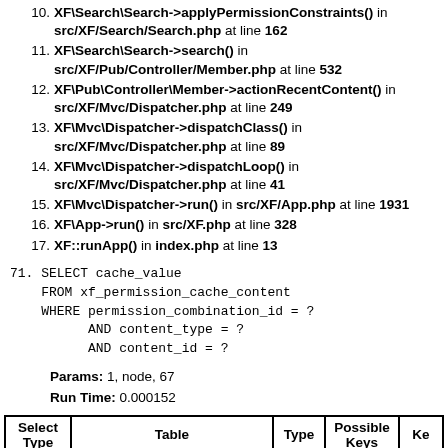10. XF\Search\Search->applyPermissionConstraints() in src/XF/Search/Search.php at line 162
11. XF\Search\Search->search() in src/XF/Pub/Controller/Member.php at line 532
12. XF\Pub\Controller\Member->actionRecentContent() in src/XF/Mvc/Dispatcher.php at line 249
13. XF\Mvc\Dispatcher->dispatchClass() in src/XF/Mvc/Dispatcher.php at line 89
14. XF\Mvc\Dispatcher->dispatchLoop() in src/XF/Mvc/Dispatcher.php at line 41
15. XF\Mvc\Dispatcher->run() in src/XF/App.php at line 1931
16. XF\App->run() in src/XF.php at line 328
17. XF::runApp() in index.php at line 13
71. SELECT cache_value
    FROM xf_permission_cache_content
    WHERE permission_combination_id = ?
          AND content_type = ?
          AND content_id = ?
Params: 1, node, 67
Run Time: 0.000152
| Select Type | Table | Type | Possible Keys | Ke |
| --- | --- | --- | --- | --- |